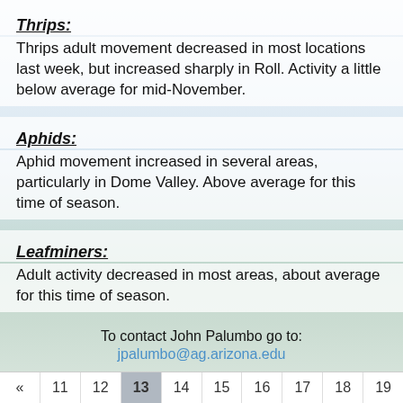Thrips:
Thrips adult movement decreased in most locations last week, but increased sharply in Roll. Activity a little below average for mid-November.
Aphids:
Aphid movement increased in several areas, particularly in Dome Valley. Above average for this time of season.
Leafminers:
Adult activity decreased in most areas, about average for this time of season.
To contact John Palumbo go to:
jpalumbo@ag.arizona.edu
View Other Updates
| « | 11 | 12 | 13 | 14 | 15 | 16 | 17 | 18 | 19 |
| --- | --- | --- | --- | --- | --- | --- | --- | --- | --- |